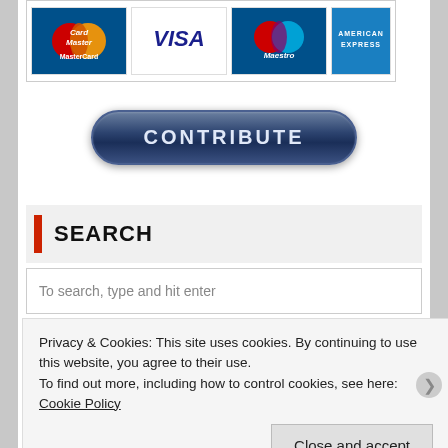[Figure (logo): Payment method logos: MasterCard, VISA, Maestro, American Express]
[Figure (other): CONTRIBUTE button - dark blue rounded rectangle button with white uppercase text]
SEARCH
To search, type and hit enter
Privacy & Cookies: This site uses cookies. By continuing to use this website, you agree to their use.
To find out more, including how to control cookies, see here: Cookie Policy
Close and accept